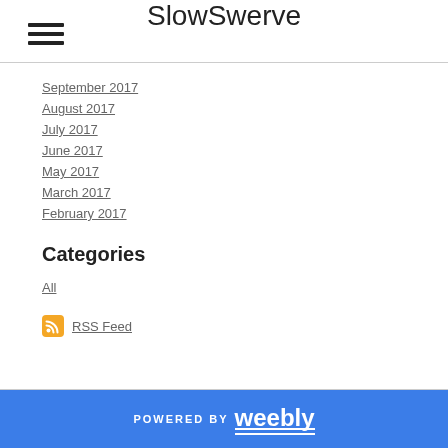SlowSwerve
September 2017
August 2017
July 2017
June 2017
May 2017
March 2017
February 2017
Categories
All
RSS Feed
POWERED BY weebly